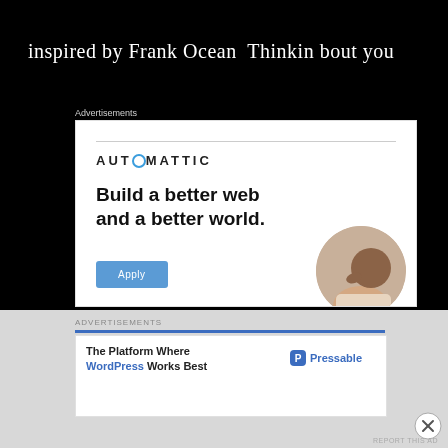inspired by Frank Ocean  Thinkin bout you
Advertisements
[Figure (infographic): Automattic advertisement: logo at top, headline 'Build a better web and a better world.', blue Apply button, circular photo of a man thinking]
ADVERTISEMENTS
[Figure (infographic): Pressable advertisement: 'The Platform Where WordPress Works Best' with Pressable logo on right, blue top bar]